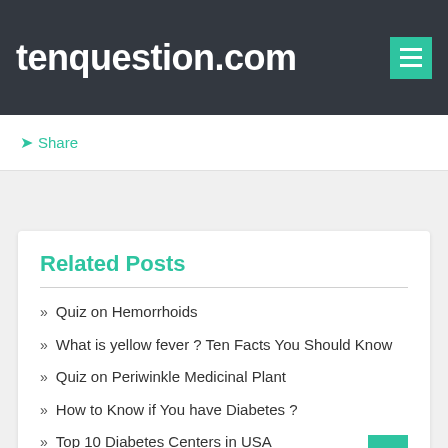tenquestion.com
Share
Related Posts
Quiz on Hemorrhoids
What is yellow fever ? Ten Facts You Should Know
Quiz on Periwinkle Medicinal Plant
How to Know if You have Diabetes ?
Top 10 Diabetes Centers in USA